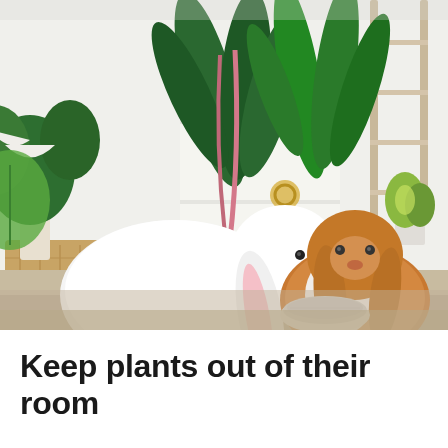[Figure (photo): Two rabbits sitting together near a food bowl on a carpeted surface. One rabbit is white with a floppy pink ear, the other is brown/orange (a lop-eared breed). Behind them are several large green houseplants including a monstera, bird of paradise, and other tropical plants in white pots, with a white shelf unit and wooden ladder visible in the background.]
Keep plants out of their room